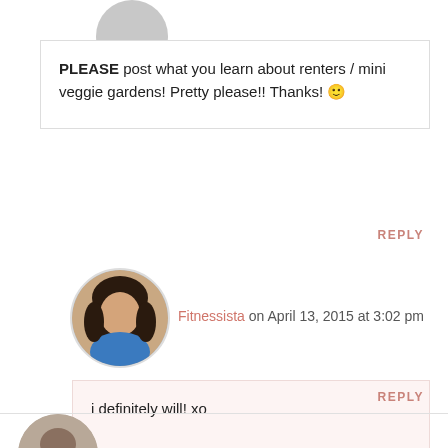[Figure (photo): Partial circular avatar image at top, gray placeholder]
PLEASE post what you learn about renters / mini veggie gardens! Pretty please!! Thanks! 🙂
REPLY
[Figure (photo): Circular avatar photo of Fitnessista, a woman with dark hair wearing a blue top]
Fitnessista on April 13, 2015 at 3:02 pm
i definitely will! xo
REPLY
[Figure (photo): Partial circular avatar image at bottom]